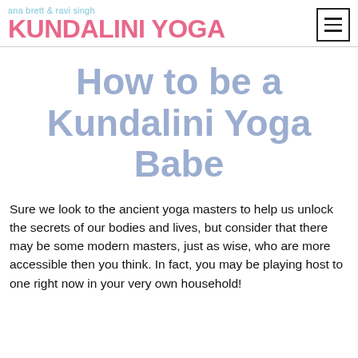ana brett & ravi singh KUNDALINI YOGA
How to be a Kundalini Yoga Babe
Sure we look to the ancient yoga masters to help us unlock the secrets of our bodies and lives, but consider that there may be some modern masters, just as wise, who are more accessible then you think. In fact, you may be playing host to one right now in your very own household!